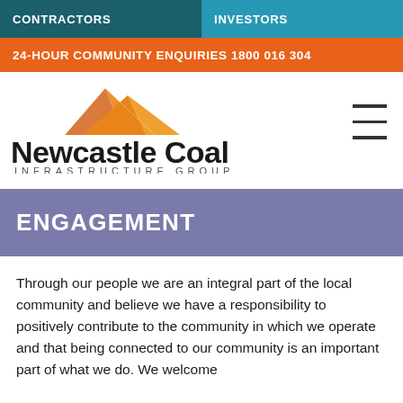CONTRACTORS  |  INVESTORS
24-HOUR COMMUNITY ENQUIRIES 1800 016 304
[Figure (logo): Newcastle Coal Infrastructure Group logo with orange chevron/mountain graphic and bold text]
ENGAGEMENT
Through our people we are an integral part of the local community and believe we have a responsibility to positively contribute to the community in which we operate and that being connected to our community is an important part of what we do. We welcome